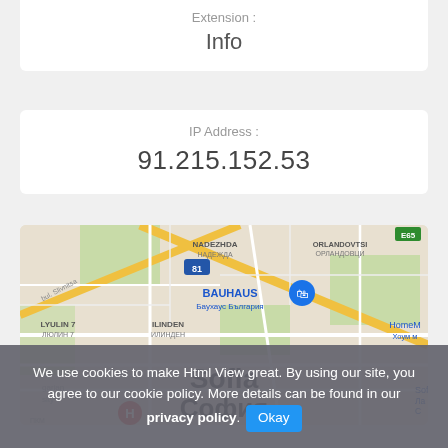Extension :
Info
IP Address :
91.215.152.53
[Figure (map): Google Maps screenshot showing Sofia, Bulgaria area with neighborhoods including Nadezhda, Orlandovtsi, Lyulin 7, Ilinden, and city center Sofia/Sophia. Shows Bauhaus Bulgaria store marker, HomeM store, and other map features.]
We use cookies to make Html View great. By using our site, you agree to our cookie policy. More details can be found in our privacy policy. Okay